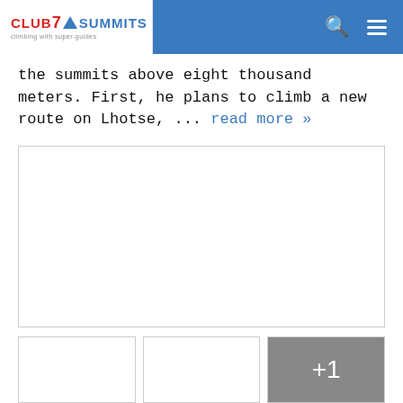Club 7 Summits - climbing with super-guides
the summits above eight thousand meters. First, he plans to climb a new route on Lhotse, ... read more »
[Figure (photo): Large empty white image box with light gray border]
[Figure (photo): Small empty white image box with light gray border]
[Figure (photo): Small empty white image box with light gray border]
[Figure (photo): Gray overlay image box with +1 indicator]